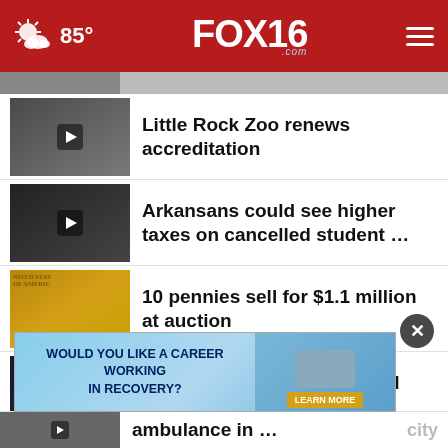FOX16.com — 85°
Little Rock Zoo renews accreditation
Arkansans could see higher taxes on cancelled student …
10 pennies sell for $1.1 million at auction
Chris Rock says he declined invite to host the Oscars …
Madam CJ Walker, first female self-made millionaire, …
[Figure (screenshot): Advertisement banner: WOULD YOU LIKE A CAREER WORKING IN RECOVERY? with people in background and LEARN MORE button]
ambulance in … city